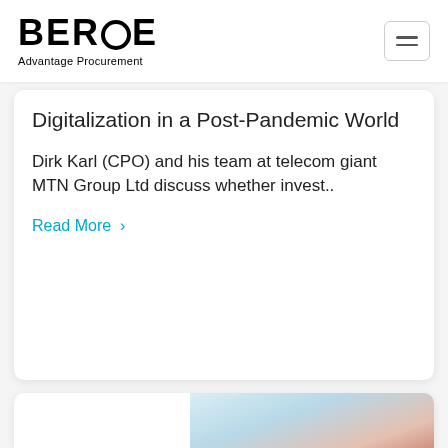BEROE Advantage Procurement
Digitalization in a Post-Pandemic World
Dirk Karl (CPO) and his team at telecom giant MTN Group Ltd discuss whether invest..
Read More ›
[Figure (photo): Partial view of a second article card with a photo thumbnail showing a hand/person against a light blue background]